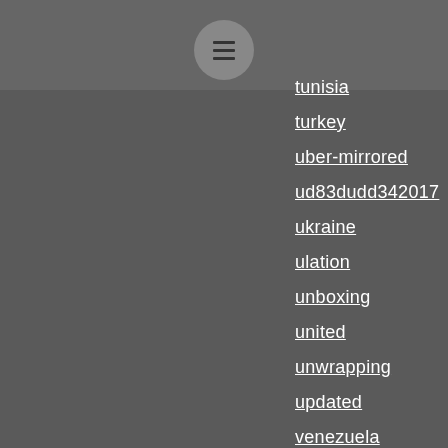[Figure (other): Menu icon (hamburger) inside a circular grey button in the header bar]
tunisia
turkey
uber-mirrored
ud83dudd342017
ukraine
ulation
unboxing
united
unwrapping
updated
venezuela
vicksburg
vietnam
vs1992-1935
walking